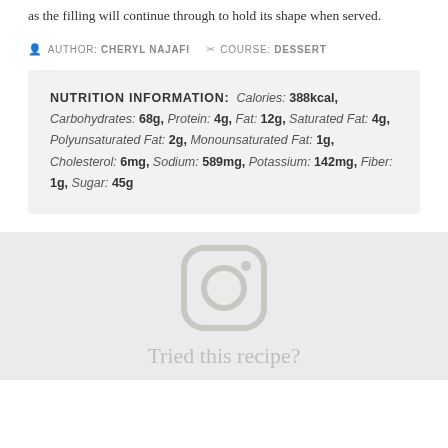as the filling will continue through to hold its shape when served.
AUTHOR: CHERYL NAJAFI   COURSE: DESSERT
NUTRITION INFORMATION: Calories: 388kcal, Carbohydrates: 68g, Protein: 4g, Fat: 12g, Saturated Fat: 4g, Polyunsaturated Fat: 2g, Monounsaturated Fat: 1g, Cholesterol: 6mg, Sodium: 589mg, Potassium: 142mg, Fiber: 1g, Sugar: 45g
[Figure (logo): Instagram logo icon in light grey]
Tried this recipe?